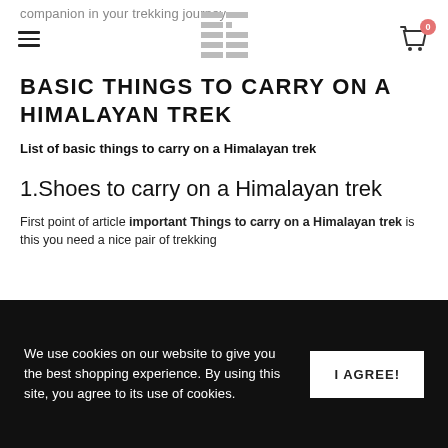companion in your trekking journey.
[Figure (logo): E-commerce store logo icon with grid/letter E design]
BASIC THINGS TO CARRY ON A HIMALAYAN TREK
List of basic things to carry on a Himalayan trek
1.Shoes to carry on a Himalayan trek
First point of article important Things to carry on a Himalayan trek is this you need a nice pair of trekking...
We use cookies on our website to give you the best shopping experience. By using this site, you agree to its use of cookies.